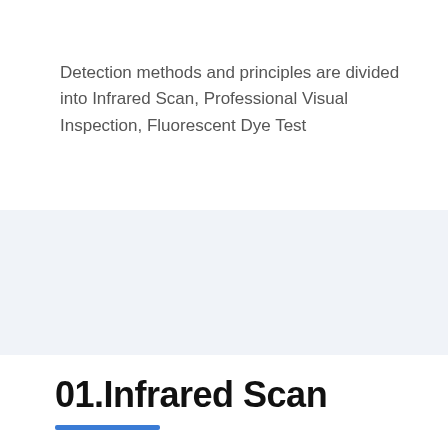Detection methods and principles are divided into Infrared Scan, Professional Visual Inspection, Fluorescent Dye Test
[Figure (other): Light gray/blue shaded rectangular band spanning full width of the page]
01.Infrared Scan